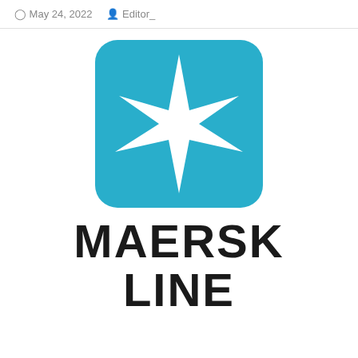May 24, 2022  Editor_
[Figure (logo): Maersk Line logo: a light blue rounded square containing a white 8-pointed star, with the text MAERSK LINE in large bold black letters below]
MAERSK LINE